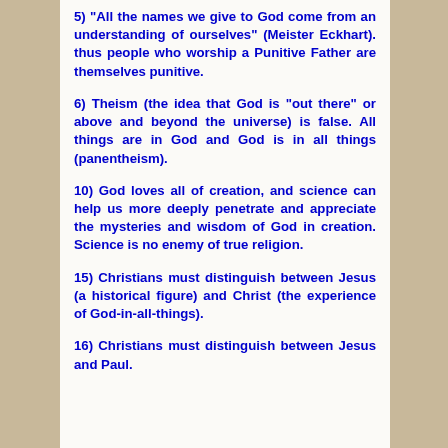5) “All the names we give to God come from an understanding of ourselves” (Meister Eckhart). thus people who worship a Punitive Father are themselves punitive.
6) Theism (the idea that God is “out there” or above and beyond the universe) is false. All things are in God and God is in all things (panentheism).
10) God loves all of creation, and science can help us more deeply penetrate and appreciate the mysteries and wisdom of God in creation. Science is no enemy of true religion.
15) Christians must distinguish between Jesus (a historical figure) and Christ (the experience of God-in-all-things).
16) Christians must distinguish between Jesus and Paul.